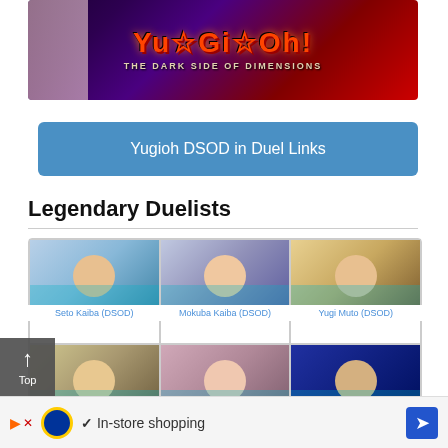[Figure (illustration): Yu-Gi-Oh! The Dark Side of Dimensions banner with anime characters and logo]
Yugioh DSOD in Duel Links
Legendary Duelists
[Figure (illustration): Grid of Legendary Duelists character portraits: Seto Kaiba (DSOD), Mokuba Kaiba (DSOD), Yugi Muto (DSOD), Joey W... (DSOD), and others]
Seto Kaiba (DSOD)
Mokuba Kaiba (DSOD)
Yugi Muto (DSOD)
Joey W...
(DSOD)
[Figure (screenshot): Top navigation button overlay (arrow up, Top) in bottom-left corner]
[Figure (screenshot): Lidl advertisement bar at bottom: In-store shopping with checkmark and navigation arrow]